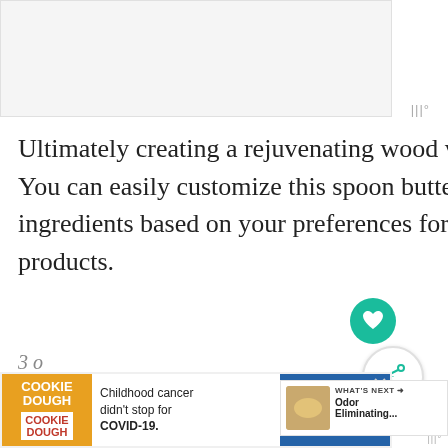[Figure (photo): Light gray image placeholder area at top of page]
Ultimately creating a rejuvenating wood with a superior level of protection! You can easily customize this spoon butter recipe below by selecting ingredients based on your preferences for vegan-friendly or nut allergy free products.
Lemon Conditioning Sp...
Butter Ingredients:
[Figure (infographic): WHAT'S NEXT arrow panel with food image thumbnail and text Odor Eliminating...]
[Figure (infographic): Cookie Dough ad banner: Childhood cancer didn't stop for COVID-19. GET BAKING. cookies for kids cancer.]
3 o...